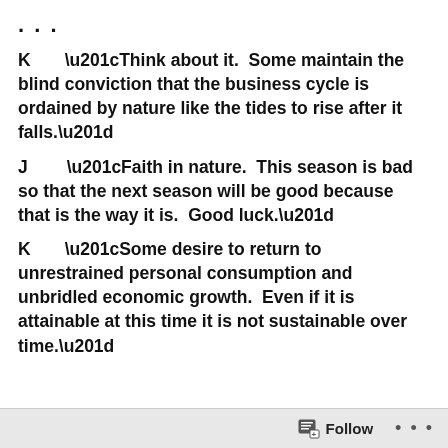. . .
K       “Think about it.  Some maintain the blind conviction that the business cycle is ordained by nature like the tides to rise after it falls.”
J       “Faith in nature.  This season is bad so that the next season will be good because that is the way it is.  Good luck.”
K       “Some desire to return to unrestrained personal consumption and unbridled economic growth.  Even if it is attainable at this time it is not sustainable over time.”
Follow